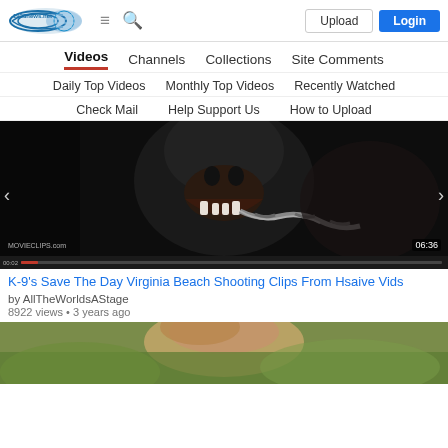1923news.net — Upload | Login
Videos | Channels | Collections | Site Comments
Daily Top Videos | Monthly Top Videos | Recently Watched
Check Mail | Help Support Us | How to Upload
[Figure (screenshot): Video thumbnail showing a menacing dog with chain, MOVIECLIPS.com watermark, timestamp 06:36, progress bar at bottom]
K-9's Save The Day Virginia Beach Shooting Clips From Hsaive Vids
by AllTheWorldsAStage
8922 views • 3 years ago
[Figure (screenshot): Partial video thumbnail showing a blurred face in outdoor setting]